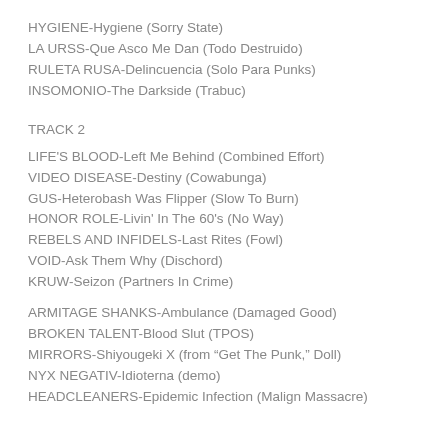HYGIENE-Hygiene (Sorry State)
LA URSS-Que Asco Me Dan (Todo Destruido)
RULETA RUSA-Delincuencia (Solo Para Punks)
INSOMONIO-The Darkside (Trabuc)
TRACK 2
LIFE'S BLOOD-Left Me Behind (Combined Effort)
VIDEO DISEASE-Destiny (Cowabunga)
GUS-Heterobash Was Flipper (Slow To Burn)
HONOR ROLE-Livin' In The 60's (No Way)
REBELS AND INFIDELS-Last Rites (Fowl)
VOID-Ask Them Why (Dischord)
KRUW-Seizon (Partners In Crime)
ARMITAGE SHANKS-Ambulance (Damaged Good)
BROKEN TALENT-Blood Slut (TPOS)
MIRRORS-Shiyougeki X (from "Get The Punk," Doll)
NYX NEGATIV-Idioterna (demo)
HEADCLEANERS-Epidemic Infection (Malign Massacre)